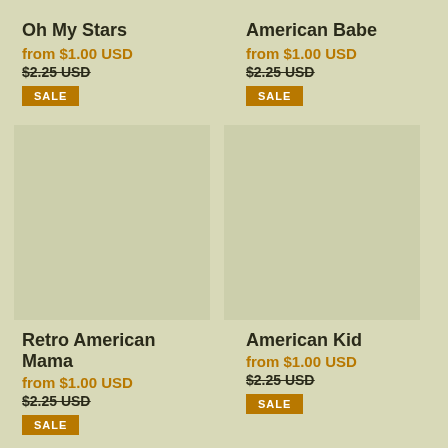Oh My Stars
from $1.00 USD
$2.25 USD
SALE
American Babe
from $1.00 USD
$2.25 USD
SALE
[Figure (photo): Product image placeholder for Retro American Mama]
Retro American Mama
from $1.00 USD
$2.25 USD
SALE
[Figure (photo): Product image placeholder for American Kid]
American Kid
from $1.00 USD
$2.25 USD
SALE